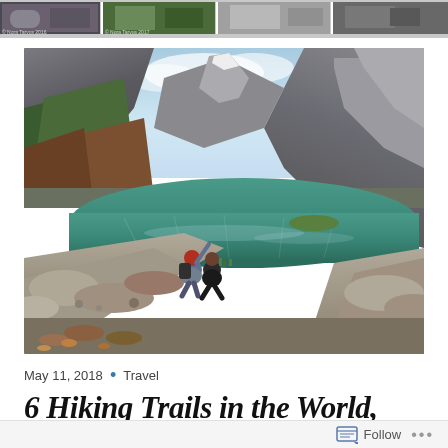[Figure (photo): A row of small thumbnail images across the top, showing travel/outdoor scenes with copyright text overlay]
[Figure (photo): Two hikers sitting on rocky shore beside a vivid teal-green alpine lake surrounded by mountains and forests. One person is pointing upward. Autumn foliage visible on mountainsides.]
May 11, 2018 • Travel
6 Hiking Trails in the World,